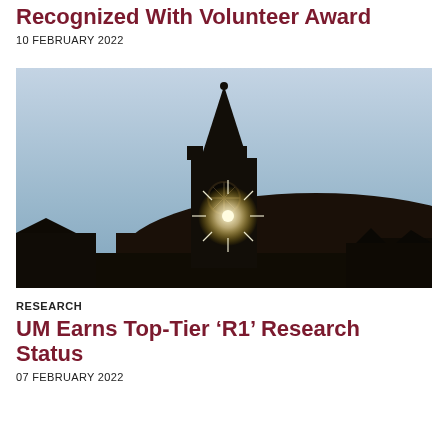Recognized With Volunteer Award
10 FEBRUARY 2022
[Figure (photo): Silhouette of a university clock tower against a bright sky with a sunburst effect, hill in background]
RESEARCH
UM Earns Top-Tier ‘R1’ Research Status
07 FEBRUARY 2022